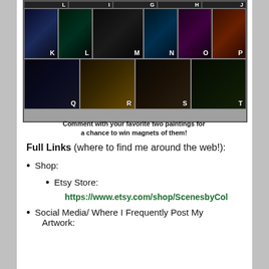[Figure (illustration): Grid of fantasy artwork panels labeled K through T in two rows, showing various fantasy scenes including glowing figures, dark creatures, sailing ship, forest, mountains. Bottom row shows Q (mountains), R (forest creature with glow), S (sailing ship), T (dark forest with light). Caption reads: Comment with your favorite two paintings for a chance to win magnets of them!]
Comment with your favorite two paintings for a chance to win magnets of them!
Full Links (where to find me around the web!):
Shop:
Etsy Store:
https://www.etsy.com/shop/ScenesbyCol
Social Media/ Where I Frequently Post My Artwork: